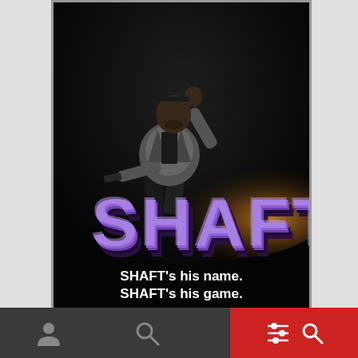[Figure (photo): Movie poster for SHAFT (1971). Black background with a man in a leather jacket holding a gun, with orange smoke/explosion behind him. Large purple bold 3D text 'SHAFT' dominates the lower portion of the poster. White tagline text at the bottom reads 'SHAFT's his name. SHAFT's his game.']
[Figure (screenshot): Bottom navigation bar of a mobile app UI, dark gray background with person icon, search icon on left side, and a red button with equalizer/filter icon and search icon on the right side.]